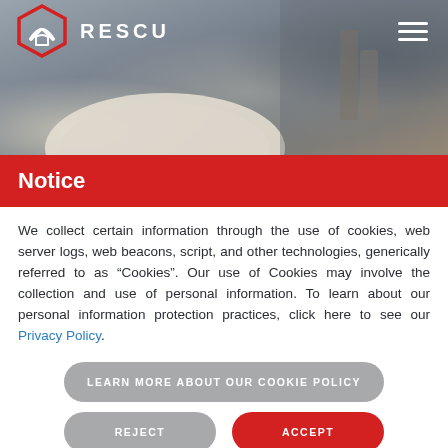[Figure (photo): Header background photo showing an elderly person with white hair from behind, sitting in a blurred interior setting with furniture visible]
RESCU
Notice
We collect certain information through the use of cookies, web server logs, web beacons, script, and other technologies, generically referred to as "Cookies". Our use of Cookies may involve the collection and use of personal information. To learn about our personal information protection practices, click here to see our Privacy Policy.
LEARN MORE ABOUT OUR COOKIE POLICY
REJECT
ACCEPT